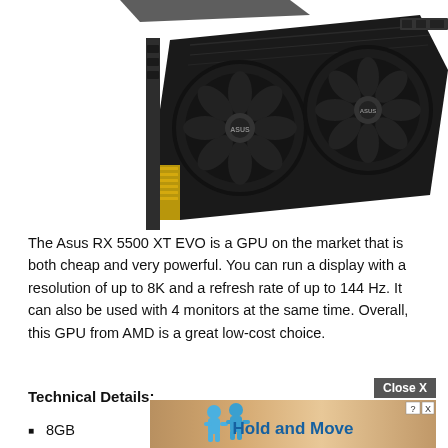[Figure (photo): ASUS RX 5500 XT EVO graphics card with dual fans, shown at an angle on a white background. The card has a black shroud with gold PCIe connector.]
The Asus RX 5500 XT EVO is a GPU on the market that is both cheap and very powerful. You can run a display with a resolution of up to 8K and a refresh rate of up to 144 Hz. It can also be used with 4 monitors at the same time. Overall, this GPU from AMD is a great low-cost choice.
Technical Details:
8GB
[Figure (screenshot): Ad overlay showing a game titled 'Hold and Move' with cartoon blue figures, with a Close X button in the top right and a question mark / X control.]